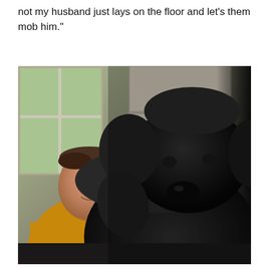not my husband just lays on the floor and let's them mob him."
[Figure (photo): A smiling man in a yellow/mustard sweater holding or posing with a very large black fluffy dog (appears to be a Newfoundland or similar breed). They are indoors in a kitchen or living area with a window visible in the background showing greenery outside, and white cabinets behind them.]